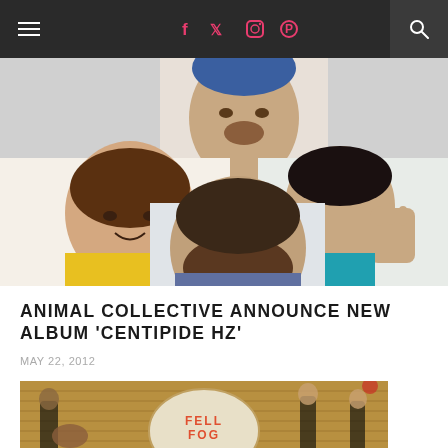Navigation bar with hamburger menu, social icons (Facebook, Twitter, Instagram, Pinterest), and search
[Figure (photo): Four members of Animal Collective in a collage-style photo: woman in yellow, man in blue beanie laughing, man in the center with beard, man on right waving]
ANIMAL COLLECTIVE ANNOUNCE NEW ALBUM 'CENTIPIDE HZ'
MAY 22, 2012
[Figure (photo): Band performing live on stage with 'FELL FOG' drum kit visible, multiple musicians with guitars and microphone, warm lighting]